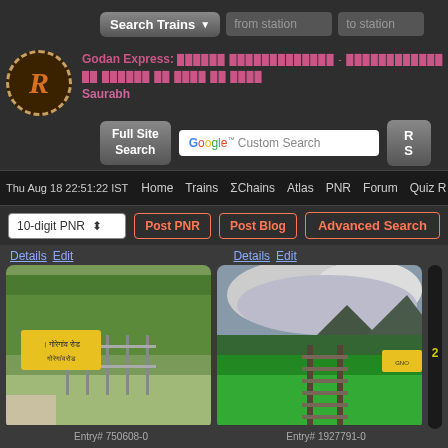[Figure (screenshot): Website header with Search Trains button, from station and to station input fields]
Godan Express: [Hindi text] - [Hindi text] Saurabh
[Figure (logo): Circular logo with stylized R in orange on dark brown background with dashed border]
Full Site Search
Google Custom Search
Thu Aug 18 22:51:22 IST  Home  Trains  ΣChains  Atlas  PNR  Forum  Quiz R
10-digit PNR  Post PNR  Post Blog  Advanced Search
Details Edit
Details Edit
[Figure (photo): Railway station sign in Hindi on yellow board with trees and fence in background]
[Figure (photo): Railway tracks with green hills and cloudy sky, station sign visible on right]
Entry# 750608-0
Entry# 1927791-0
GNO/Goregaon Road (1 PFs)
Scroll to